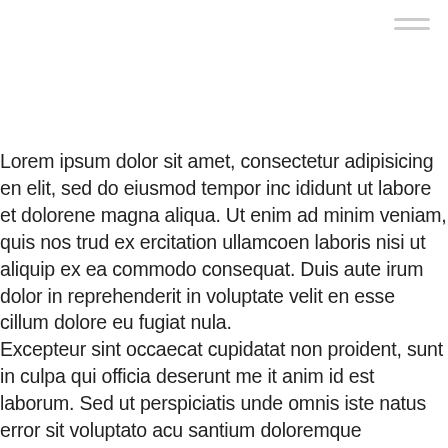[Figure (other): Hamburger menu icon (three horizontal lines) in top right corner]
Lorem ipsum dolor sit amet, consectetur adipisicing en elit, sed do eiusmod tempor inc ididunt ut labore et dolorene magna aliqua. Ut enim ad minim veniam, quis nos trud ex ercitation ullamcoen laboris nisi ut aliquip ex ea commodo consequat. Duis aute irum dolor in reprehenderit in voluptate velit en esse cillum dolore eu fugiat nula. Excepteur sint occaecat cupidatat non proident, sunt in culpa qui officia deserunt me it anim id est laborum. Sed ut perspiciatis unde omnis iste natus error sit voluptato acu santium doloremque laudantium, totam rem aperiam, eaque ipsa quae ab illo eni dolor entore veritatis et quasi architecto beatae vitae dicta sunt explicabo nemo enim ipsam voluptatem.